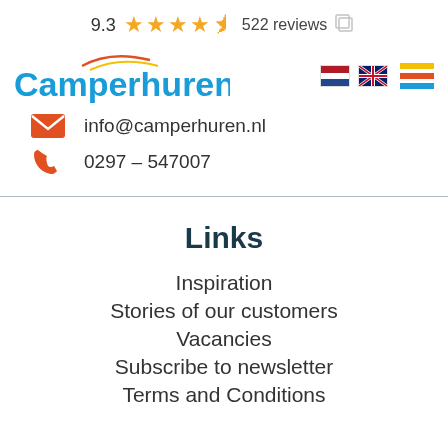9.3  ★★★★½  522 reviews
[Figure (logo): Camperhuren.nl logo with swoosh graphic, Dutch and UK flags, and hamburger menu icon]
info@camperhuren.nl
0297 – 547007
Links
Inspiration
Stories of our customers
Vacancies
Subscribe to newsletter
Terms and Conditions